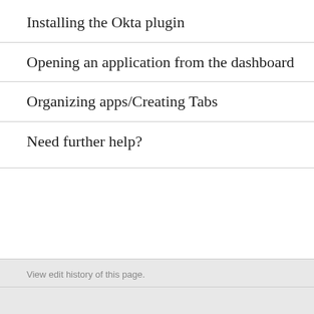Installing the Okta plugin
Opening an application from the dashboard
Organizing apps/Creating Tabs
Need further help?
View edit history of this page.